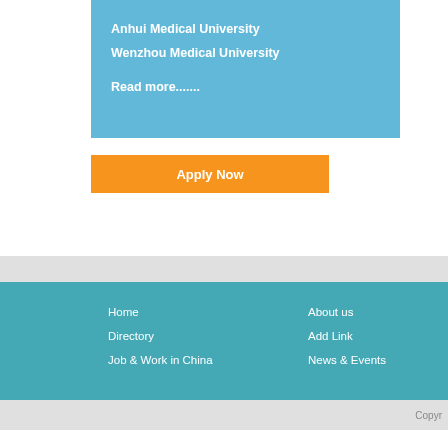Anhui Medical University
Wenzhou Medical University

Read more.......
Apply Now
Home
Directory
Job & Work in China
About us
Add Link
News & Events
Copyr...